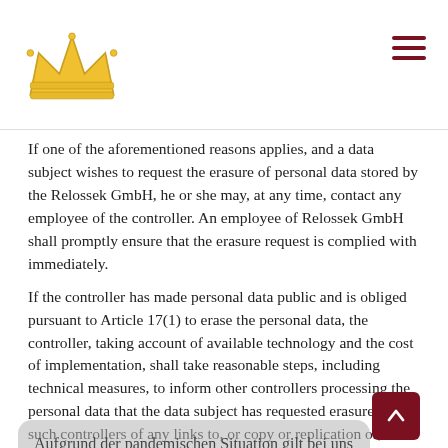[Figure (logo): Gold crown logo in page header]
If one of the aforementioned reasons applies, and a data subject wishes to request the erasure of personal data stored by the Relossek GmbH, he or she may, at any time, contact any employee of the controller. An employee of Relossek GmbH shall promptly ensure that the erasure request is complied with immediately.
If the controller has made personal data public and is obliged pursuant to Article 17(1) to erase the personal data, the controller, taking account of available technology and the cost of implementation, shall take reasonable steps, including technical measures, to inform other controllers processing the personal data that the data subject has requested erasure by such controllers of any links to, or copy or replication of, those personal data, as far as processing is not required. An employees of the Relossek GmbH will arrange the necessary measures in individual cases.
Aufgrund der pandemischen Situation gilt bei uns die 2G-Regelung: Zutritt nur für Geimpfte oder Genesene
e) Right of restriction of processing
Each data subject shall have the right granted by the